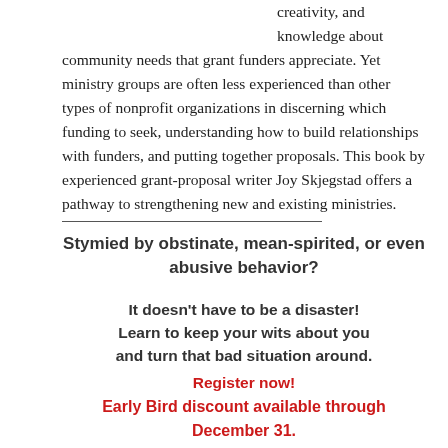creativity, and knowledge about community needs that grant funders appreciate. Yet ministry groups are often less experienced than other types of nonprofit organizations in discerning which funding to seek, understanding how to build relationships with funders, and putting together proposals. This book by experienced grant-proposal writer Joy Skjegstad offers a pathway to strengthening new and existing ministries.
Stymied by obstinate, mean-spirited, or even abusive behavior?
It doesn't have to be a disaster! Learn to keep your wits about you and turn that bad situation around.
Register now!
Early Bird discount available through December 31.